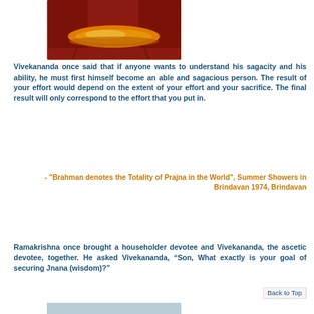[Figure (photo): Partial photo of a figure in red and orange/yellow robes, cropped to show midsection with orange sash]
Vivekananda once said that if anyone wants to understand his sagacity and his ability, he must first himself become an able and sagacious person. The result of your effort would depend on the extent of your effort and your sacrifice. The final result will only correspond to the effort that you put in.
- "Brahman denotes the Totality of Prajna in the World", Summer Showers in Brindavan 1974, Brindavan
Ramakrishna once brought a householder devotee and Vivekananda, the ascetic devotee, together. He asked Vivekananda, “Son, What exactly is your goal of securing Jnana (wisdom)?”
Back to Top
[Figure (photo): Partial photo at bottom showing a figure, cropped at bottom of page]